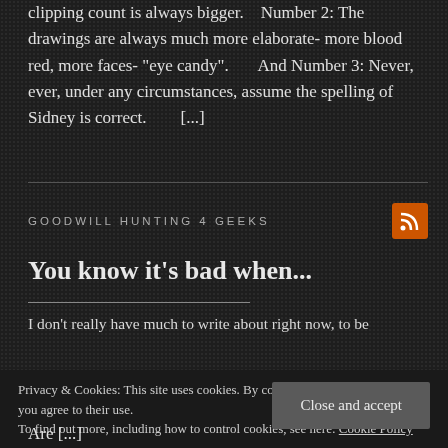clipping count is always bigger.    Number 2: The drawings are always much more elaborate- more blood red, more faces- "eye candy".       And Number 3: Never, ever, under any circumstances, assume the spelling of Sidney is correct.         [...]
GOODWILL HUNTING 4 GEEKS
You know it's bad when...
I don't really have much to write about right now, to be
Privacy & Cookies: This site uses cookies. By continuing to use this website, you agree to their use.
To find out more, including how to control cookies, see here: Cookie Policy
Close and accept
Are [...]